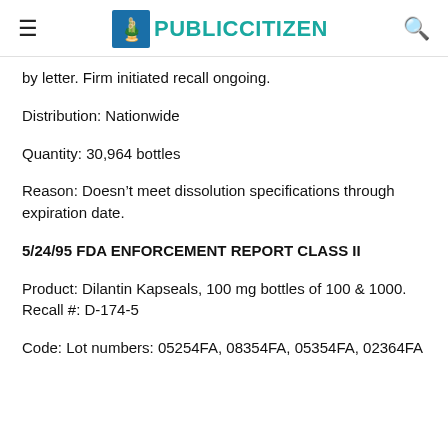PUBLIC CITIZEN
by letter. Firm initiated recall ongoing.
Distribution: Nationwide
Quantity: 30,964 bottles
Reason: Doesn’t meet dissolution specifications through expiration date.
5/24/95 FDA ENFORCEMENT REPORT CLASS II
Product: Dilantin Kapseals, 100 mg bottles of 100 & 1000. Recall #: D-174-5
Code: Lot numbers: 05254FA, 08354FA, 05354FA, 02364FA